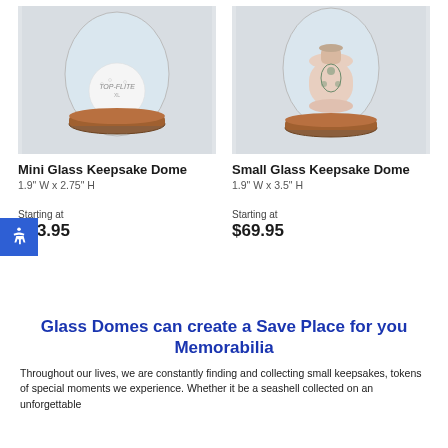[Figure (photo): Mini Glass Keepsake Dome product photo – a glass dome over a golf ball on a wooden base]
[Figure (photo): Small Glass Keepsake Dome product photo – a glass dome over a decorative vase on a wooden base]
Mini Glass Keepsake Dome
1.9" W x 2.75" H
Starting at
$63.95
Small Glass Keepsake Dome
1.9" W x 3.5" H
Starting at
$69.95
Glass Domes can create a Save Place for you Memorabilia
Throughout our lives, we are constantly finding and collecting small keepsakes, tokens of special moments we experience. Whether it be a seashell collected on an unforgettable